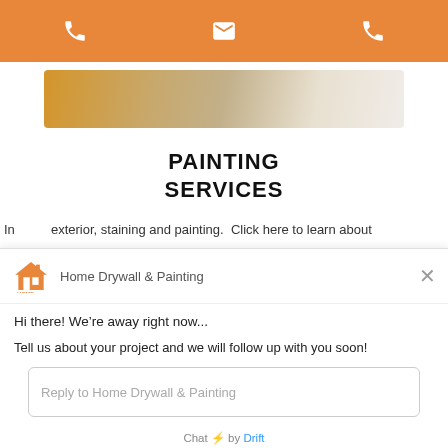[Figure (screenshot): Orange navigation bar with phone icon on left, envelope icon in center, phone icon on right — all white icons on orange background]
[Figure (photo): Partial banner image showing painting brushstrokes in gold, brown and white/grey tones]
PAINTING SERVICES
In exterior, staining and painting.  Click here to learn about
[Figure (screenshot): Chat widget from Drift for Home Drywall & Painting showing away message and reply input field]
Home Drywall & Painting
Hi there! We’re away right now...
Tell us about your project and we will follow up with you soon!
Reply to Home Drywall & Painting
Chat ⚡ by Drift